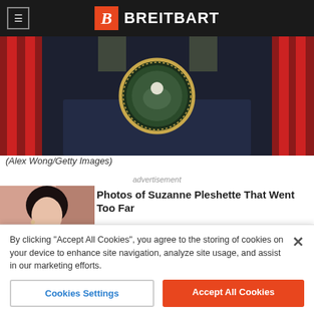BREITBART
[Figure (photo): Presidential podium with Presidential Seal and American flags in background]
(Alex Wong/Getty Images)
advertisement
[Figure (photo): Photo of Suzanne Pleshette]
Photos of Suzanne Pleshette That Went Too Far
HistorybyDay
[Figure (photo): Photo of Carrie Underwood]
Carrie Underwood is Unrecognizable Today
By clicking “Accept All Cookies”, you agree to the storing of cookies on your device to enhance site navigation, analyze site usage, and assist in our marketing efforts.
Cookies Settings
Accept All Cookies